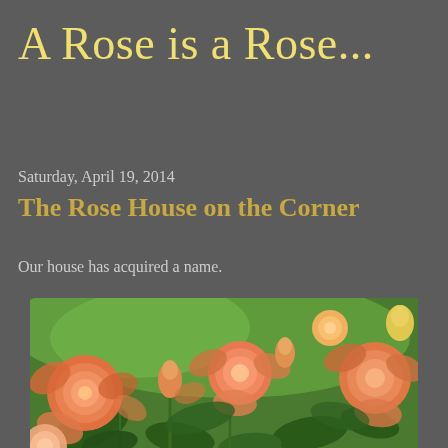A Rose is a Rose...
Saturday, April 19, 2014
The Rose House on the Corner
Our house has acquired a name.
[Figure (photo): Close-up photograph of orange/peach roses in bloom with green leaves and buds, against a blurred green background.]